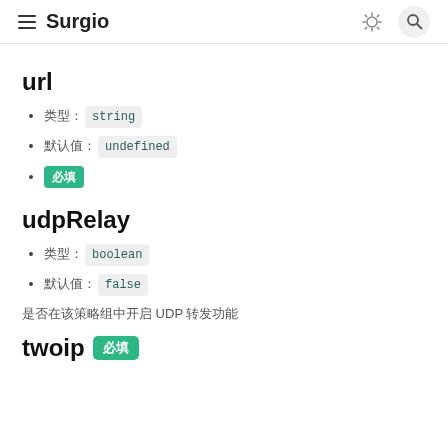Surgio
url
类型: string
默认值: undefined
必填
udpRelay
类型: boolean
默认值: false
是否在该策略组中开启 UDP 转发功能
twoip